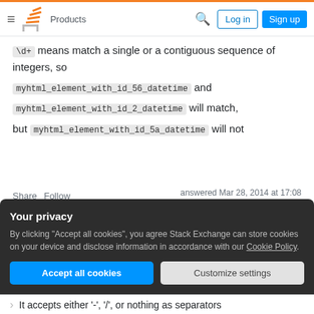Stack Overflow navigation bar with Products, Log in, Sign up
\d+ means match a single or a contiguous sequence of integers, so myhtml_element_with_id_56_datetime and myhtml_element_with_id_2_datetime will match, but myhtml_element_with_id_5a_datetime will not
Share  Follow   answered Mar 28, 2014 at 17:08   Luke Madhanga   5,827 ● 1 ● 41 ● 44
Add a comment
Your privacy
By clicking "Accept all cookies", you agree Stack Exchange can store cookies on your device and disclose information in accordance with our Cookie Policy.
Accept all cookies   Customize settings
It accepts either '-', '/', or nothing as separators